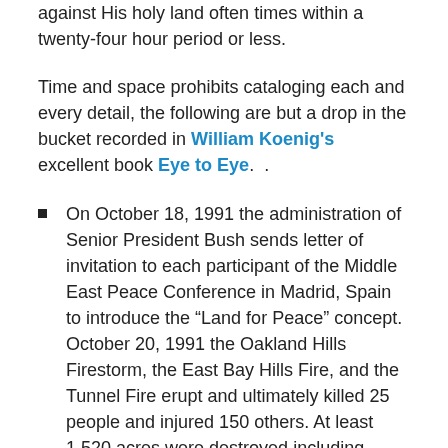against His holy land often times within a twenty-four hour period or less.
Time and space prohibits cataloging each and every detail, the following are but a drop in the bucket recorded in William Koenig's excellent book Eye to Eye.  .
On October 18, 1991 the administration of Senior President Bush sends letter of invitation to each participant of the Middle East Peace Conference in Madrid, Spain to introduce the “Land for Peace” concept. October 20, 1991 the Oakland Hills Firestorm, the East Bay Hills Fire, and the Tunnel Fire erupt and ultimately killed 25 people and injured 150 others. At least 1,520 acres were destroyed including 3,354 single-family dwellings, 437 apartment/condominium units resulting in an economic loss estimated at $1.5